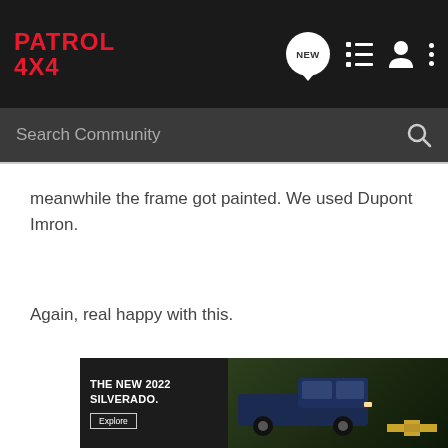PATROL 4X4 — Navigation bar with logo and icons
Search Community
meanwhile the frame got painted. We used Dupont Imron.
Again, real happy with this.
[Figure (illustration): Advertisement banner for the new 2022 Silverado by Chevrolet. Shows a dark truck on a green background with text 'THE NEW 2022 SILVERADO.' and an 'Explore' button, with the Chevrolet logo on the right.]